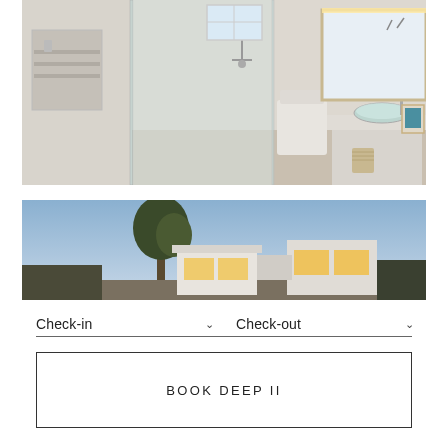[Figure (photo): Modern bathroom interior with glass shower enclosure, wall-mounted toilet, white vanity countertop with a round vessel sink, large mirror with backlit lighting, and a framed starfish picture.]
[Figure (photo): Exterior view of a modern white cubic house at dusk with warm interior lighting, a tree silhouette against a blue sky.]
Check-in
Check-out
BOOK DEEP II